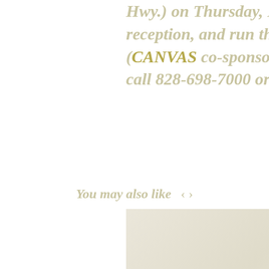Hwy.) on Thursday, November 9, with a 5-7pm reception, and run through Sunday, November 26. (CANVAS co-sponsors the event.) For more information, call 828-698-7000 or 828-577-4590.
You may also like
[Figure (photo): Two faded/washed-out thumbnail photos side by side, part of a 'You may also like' content recommendation section]